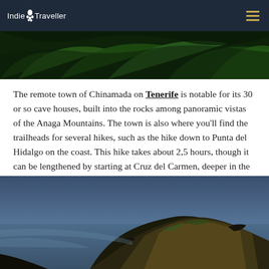Indie Traveller
[Figure (photo): Green tropical foliage close-up, lush dark green leaves filling the frame]
The remote town of Chinamada on Tenerife is notable for its 30 or so cave houses, built into the rocks among panoramic vistas of the Anaga Mountains. The town is also where you'll find the trailheads for several hikes, such as the hike down to Punta del Hidalgo on the coast. This hike takes about 2,5 hours, though it can be lengthened by starting at Cruz del Carmen, deeper in the Anaga park.
[Figure (photo): Dramatic coastal cliff at dusk or night, rocky headland illuminated against a moody blue sky and sea]